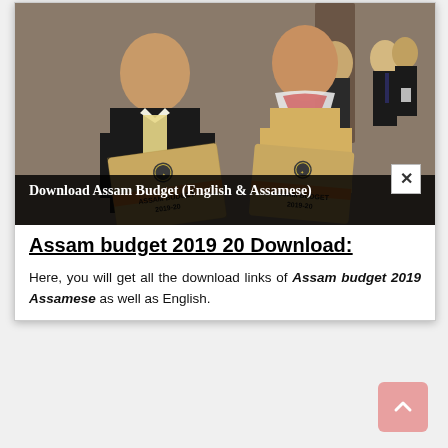[Figure (photo): Two men holding jute bags labeled 'ASSAM BUDGET 2019-20' with an emblem, standing in front of a group of people. Black banner overlay reads: Download Assam Budget (English & Assamese)]
Assam budget 2019 20 Download:
Here, you will get all the download links of Assam budget 2019 Assamese as well as English.